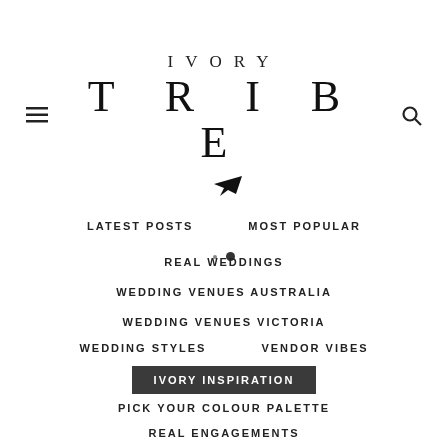IVORY TRIBE
LATEST POSTS
MOST POPULAR
REAL WEDDINGS
WEDDING VENUES AUSTRALIA
WEDDING VENUES VICTORIA
WEDDING STYLES
VENDOR VIBES
IVORY INSPIRATION
PICK YOUR COLOUR PALETTE
REAL ENGAGEMENTS
SEARCH MY STATE